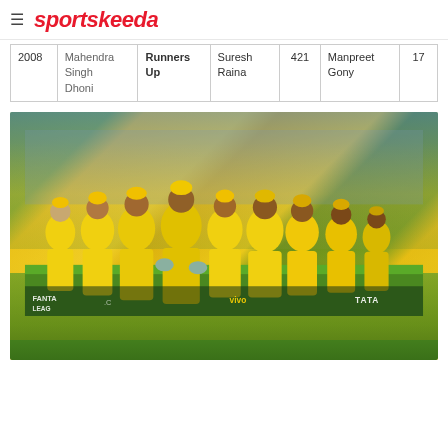sportskeeda
| Year | Captain | Position | Top Batsman | Runs | Top Bowler | Wickets |
| --- | --- | --- | --- | --- | --- | --- |
| 2008 | Mahendra Singh Dhoni | Runners Up | Suresh Raina | 421 | Manpreet Gony | 17 |
[Figure (photo): Chennai Super Kings cricket team in yellow jerseys walking on the field, led by MS Dhoni, with crowd in background. Banners visible: FANTASY LEAGUE, TATA logo.]